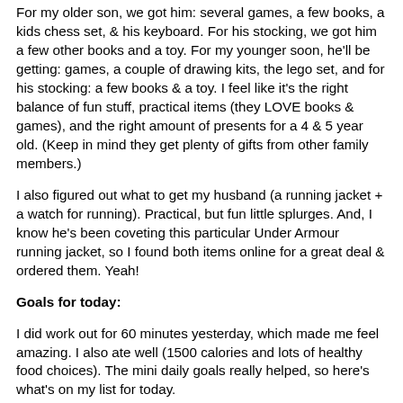For my older son, we got him: several games, a few books, a kids chess set, & his keyboard. For his stocking, we got him a few other books and a toy. For my younger soon, he'll be getting: games, a couple of drawing kits, the lego set, and for his stocking: a few books & a toy. I feel like it's the right balance of fun stuff, practical items (they LOVE books & games), and the right amount of presents for a 4 & 5 year old. (Keep in mind they get plenty of gifts from other family members.)
I also figured out what to get my husband (a running jacket + a watch for running). Practical, but fun little splurges. And, I know he's been coveting this particular Under Armour running jacket, so I found both items online for a great deal & ordered them. Yeah!
Goals for today:
I did work out for 60 minutes yesterday, which made me feel amazing. I also ate well (1500 calories and lots of healthy food choices). The mini daily goals really helped, so here's what's on my list for today.